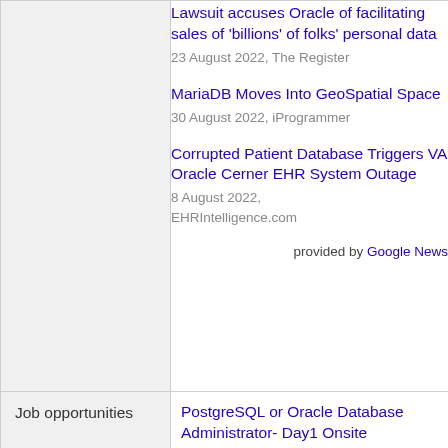Lawsuit accuses Oracle of facilitating sales of 'billions' of folks' personal data
23 August 2022, The Register
MariaDB Moves Into GeoSpatial Space
30 August 2022, iProgrammer
Corrupted Patient Database Triggers VA Oracle Cerner EHR System Outage
8 August 2022, EHRIntelligence.com
provided by Google News
Job opportunities
PostgreSQL or Oracle Database Administrator- Day1 Onsite